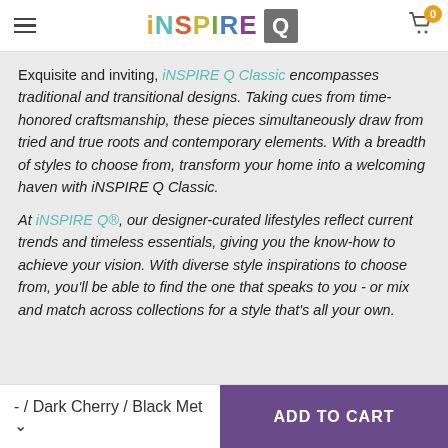iNSPIRE Q (logo header with hamburger menu and cart)
Exquisite and inviting, iNSPIRE Q Classic encompasses traditional and transitional designs. Taking cues from time-honored craftsmanship, these pieces simultaneously draw from tried and true roots and contemporary elements. With a breadth of styles to choose from, transform your home into a welcoming haven with iNSPIRE Q Classic.
At iNSPIRE Q®, our designer-curated lifestyles reflect current trends and timeless essentials, giving you the know-how to achieve your vision. With diverse style inspirations to choose from, you'll be able to find the one that speaks to you - or mix and match across collections for a style that's all your own.
- / Dark Cherry / Black Met  ADD TO CART